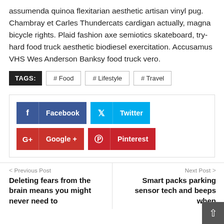assumenda quinoa flexitarian aesthetic artisan vinyl pug. Chambray et Carles Thundercats cardigan actually, magna bicycle rights. Plaid fashion axe semiotics skateboard, try-hard food truck aesthetic biodiesel exercitation. Accusamus VHS Wes Anderson Banksy food truck vero.
TAGS: # Food  # Lifestyle  # Travel
[Figure (other): Social share buttons: Facebook, Twitter, Google+, Pinterest]
< Previous Post
Deleting fears from the brain means you might never need to forget them
Next Post >
Smart packs parking sensor tech and beeps when